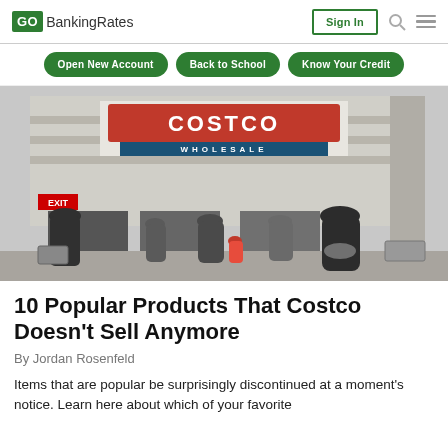GO BankingRates | Sign In | Search | Menu
[Figure (screenshot): Navigation bar with three green pill-shaped buttons: Open New Account, Back to School, Know Your Credit]
[Figure (photo): Exterior photo of a Costco Wholesale store entrance with shoppers walking in and out with carts]
10 Popular Products That Costco Doesn't Sell Anymore
By Jordan Rosenfeld
Items that are popular be surprisingly discontinued at a moment's notice. Learn here about which of your favorite